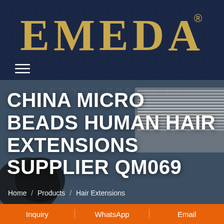[Figure (logo): EMEDA logo in gold/tan color on dark navy background with registered trademark symbol]
CHINA MICRO BEADS HUMAN HAIR EXTENSIONS SUPPLIER QM069
[Figure (photo): Background photo showing various hair extension products including dark bundled hair and light/blonde micro bead hair extensions]
Home / Products / Hair Extensions
Inquiry | WhatsApp | Email